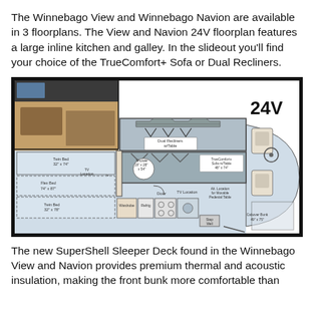The Winnebago View and Winnebago Navion are available in 3 floorplans. The View and Navion 24V floorplan features a large inline kitchen and galley. In the slideout you'll find your choice of the TrueComfort+ Sofa or Dual Recliners.
[Figure (engineering-diagram): Winnebago 24V floorplan diagram showing interior layout including Twin Beds (32"x74" and 32"x78"), Flex Bed (74"x87"), Wardrobe, TV Location, Shower (19"x28"x54"), Door, Dual Recliners w/Table, TrueComfort+ Sofa w/Table (48"x74"), Slideout, Step Well, Cabover Bunk (49"x75"), Alt. Location for Movable Pedestal Table, TV Location, Refrig. Also includes an interior photo of the RV.]
The new SuperShell Sleeper Deck found in the Winnebago View and Navion provides premium thermal and acoustic insulation, making the front bunk more comfortable than